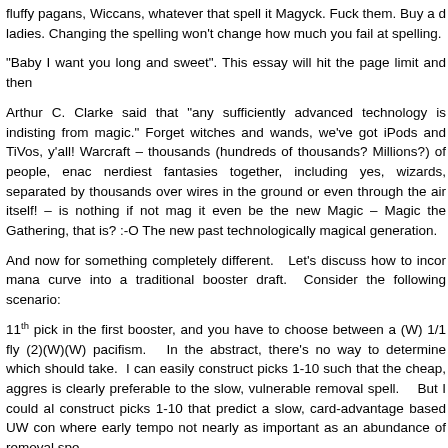fluffy pagans, Wiccans, whatever that spell it Magyck. Fuck them. Buy a d ladies. Changing the spelling won't change how much you fail at spelling.
“Baby I want you long and sweet”. This essay will hit the page limit and then
Arthur C. Clarke said that “any sufficiently advanced technology is indisting from magic.” Forget witches and wands, we’ve got iPods and TiVos, y’all! Warcraft – thousands (hundreds of thousands? Millions?) of people, enac nerdiest fantasies together, including yes, wizards, separated by thousands over wires in the ground or even through the air itself! – is nothing if not mag it even be the new Magic – Magic the Gathering, that is? :-O The new past technologically magical generation.
And now for something completely different.  Let’s discuss how to incor mana curve into a traditional booster draft.  Consider the following scenario:
11th pick in the first booster, and you have to choose between a (W) 1/1 fly (2)(W)(W) pacifism.  In the abstract, there’s no way to determine which should take.  I can easily construct picks 1-10 such that the cheap, aggres is clearly preferable to the slow, vulnerable removal spell.   But I could al construct picks 1-10 that predict a slow, card-advantage based UW con where early tempo not nearly as important as an abundance of removal spe
In general, it is important to consider with each pick not only which card is ob best, but which card best interacts with the cards you have already draf example, if you are drafting a UR tempo based deck, but have seven boun and no burn, a bad burn spell is a much better pick than a quality bounce s in a URGBW domain deck, if you have three great finishers but no mana land search spell is a much better pick than a fourth finisher.